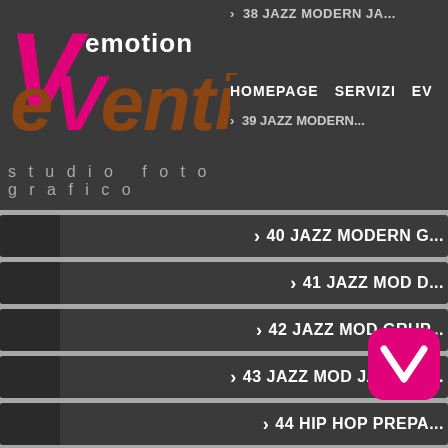[Figure (screenshot): Website header for 'Vemotion eVenti studio fotografico' with logo and navigation showing items 38-39 JAZZ MODERN, HOMEPAGE, SERVIZI, EV...]
40 JAZZ MODERN G...
41 JAZZ MOD D...
42 JAZZ MOD GRUP...
43 JAZZ MOD JAZZ GR...
44 HIP HOP PREPA...
45 HIP HOP CAT1 E...
47 HIP HOP GR... P...
4... (partial)